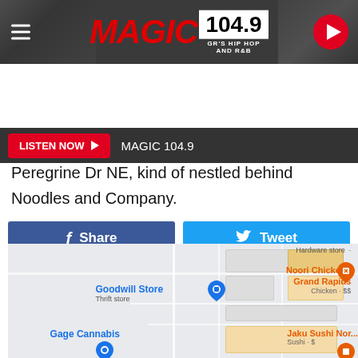[Figure (screenshot): Magic 104.9 radio station website header banner with logo, frequency, tagline 'GR's HIP HOP AND R&B', hamburger menu icon, and red play button]
[Figure (screenshot): Listen Now button bar with red button and MAGIC 104.9 label on dark background]
[Figure (screenshot): Facebook Share and Twitter Tweet social sharing buttons]
Peregrine Dr NE, kind of nestled behind Noodles and Company.
[Figure (map): Google Maps screenshot showing Goodwill Store (Thrift store), Noori Chicken - Grand Rapids (Chicken, $$), Jaku Sushi Nor... (Sushi), Gage Cannabis, and Hardware store labels in Grand Rapids area]